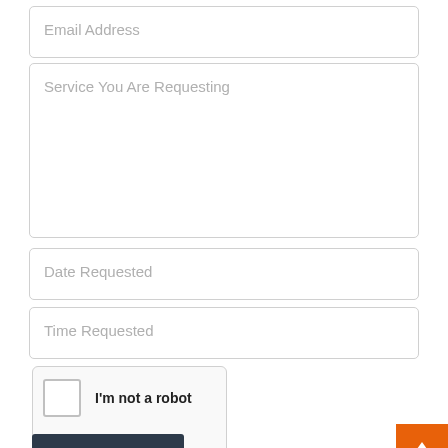Email Address
Service You Are Requesting
Date Requested
Time Requested
[Figure (screenshot): reCAPTCHA widget with checkbox labeled 'I'm not a robot', reCAPTCHA logo, Privacy and Terms links]
SUBMIT